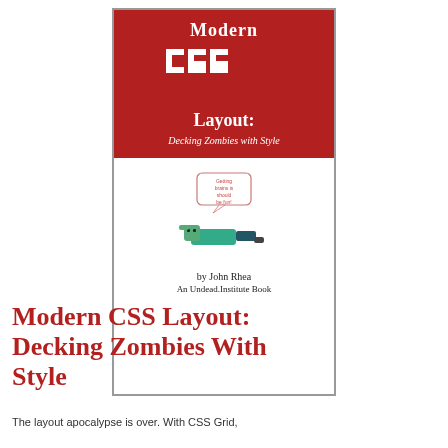[Figure (illustration): Book cover for 'Modern CSS Layout: Decking Zombies with Style' by John Rhea. Red top section with 'Modern' in white serif font, large pixelated white 'CSS' text, 'Layout:' and 'Decking Zombies with Style' subtitle. White bottom section with a zombie illustration and speech bubble, byline 'by John Rhea' and 'An Undead.Institute Book'.]
Modern CSS Layout:
Decking Zombies With Style
The layout apocalypse is over. With CSS Grid,